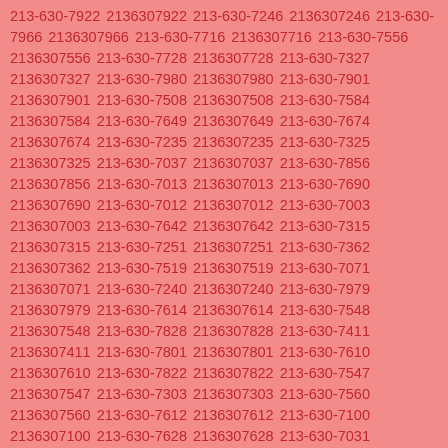213-630-7922 2136307922 213-630-7246 2136307246 213-630-7966 2136307966 213-630-7716 2136307716 213-630-7556 2136307556 213-630-7728 2136307728 213-630-7327 2136307327 213-630-7980 2136307980 213-630-7901 2136307901 213-630-7508 2136307508 213-630-7584 2136307584 213-630-7649 2136307649 213-630-7674 2136307674 213-630-7235 2136307235 213-630-7325 2136307325 213-630-7037 2136307037 213-630-7856 2136307856 213-630-7013 2136307013 213-630-7690 2136307690 213-630-7012 2136307012 213-630-7003 2136307003 213-630-7642 2136307642 213-630-7315 2136307315 213-630-7251 2136307251 213-630-7362 2136307362 213-630-7519 2136307519 213-630-7071 2136307071 213-630-7240 2136307240 213-630-7979 2136307979 213-630-7614 2136307614 213-630-7548 2136307548 213-630-7828 2136307828 213-630-7411 2136307411 213-630-7801 2136307801 213-630-7610 2136307610 213-630-7822 2136307822 213-630-7547 2136307547 213-630-7303 2136307303 213-630-7560 2136307560 213-630-7612 2136307612 213-630-7100 2136307100 213-630-7628 2136307628 213-630-7031 2136307031 213-630-7837 2136307837 213-630-7343 2136307343 213-630-7124 2136307124 213-630-7106 2136307106 213-630-7784 2136307784 213-630-7620 2136307620 213-630-7880 2136307880 213-630-7290 2136307290 213-630-7321 2136307321 213-630-7122 2136307122 213-630-7882 2136307882 213-630-7057 2136307057 213-630-7729 2136307729 213-630-7788 2136307788 213-630-7662 2136307662 213-630-7160 2136307160 213-630-7537 2136307537 213-630-7986 2136307986 213-630-7443 2136307443 213-630-7718 2136307718